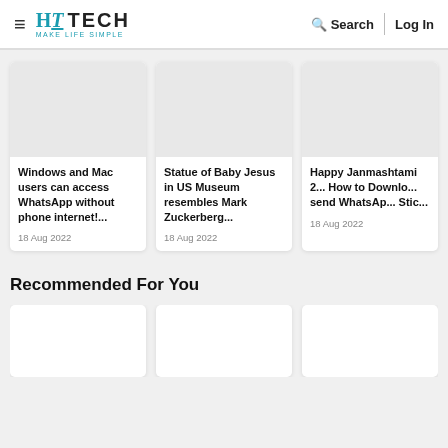HT TECH - MAKE LIFE SIMPLE | Search | Log In
[Figure (screenshot): News article card: Windows and Mac users can access WhatsApp without phone internet!... | 18 Aug 2022]
[Figure (screenshot): News article card: Statue of Baby Jesus in US Museum resembles Mark Zuckerberg... | 18 Aug 2022]
[Figure (screenshot): News article card: Happy Janmashtami 2... How to Download send WhatsApp Stic... | 18 Aug 2022]
Recommended For You
[Figure (screenshot): Recommended article card 1 (image placeholder)]
[Figure (screenshot): Recommended article card 2 (image placeholder)]
[Figure (screenshot): Recommended article card 3 (image placeholder)]